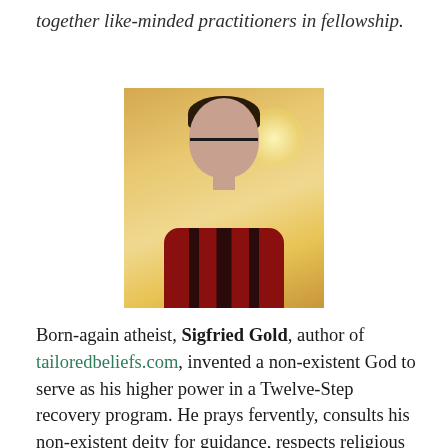together like-minded practitioners in fellowship.
[Figure (photo): Headshot photo of a man with dark hair, glasses, and a dark red striped shirt against a warm golden background]
Born-again atheist, Sigfried Gold, author of tailoredbeliefs.com, invented a non-existent God to serve as his higher power in a Twelve-Step recovery program. He prays fervently, consults his non-existent deity for guidance, respects religious people, and does other things that, in his words, “unfortunately and unintentionally mystify and piss off many non-